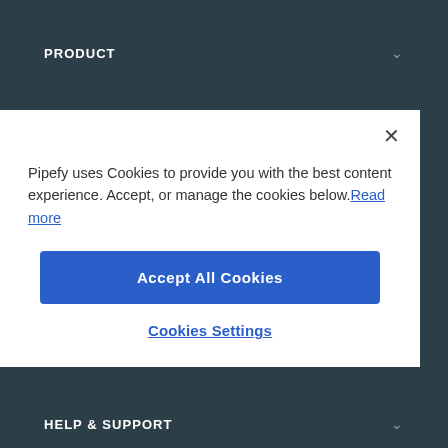PRODUCT
TEMPLATES
Pipefy uses Cookies to provide you with the best content experience. Accept, or manage the cookies below. Read more
Accept All Cookies
Cookies Settings
COMPANY
HELP & SUPPORT